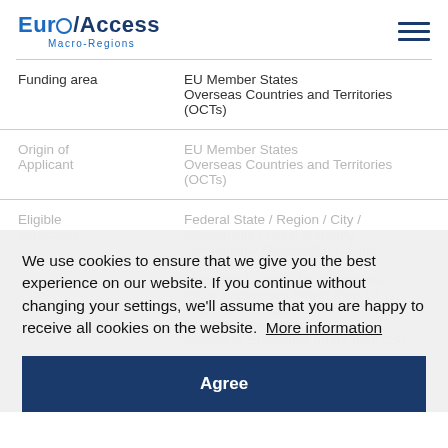EuroAccess Macro-Regions
| Field | Value |
| --- | --- |
| Funding area | EU Member States
Overseas Countries and Territories (OCTs) |
| Origin of Applicant | EU Member States
Overseas Countries and Territories (OCTs) |
| Eligible applicants | Federal State / Region / City / Municipality / Local Authority, International Organization, Small enterprises, SMEs (between 10 and 249 employees), Micro Enterprises (fewer than 10 employees), Public Services, Other, National Government, Start Up Company, Enterprise (more than 250... |
We use cookies to ensure that we give you the best experience on our website. If you continue without changing your settings, we'll assume that you are happy to receive all cookies on the website. More information
Agree